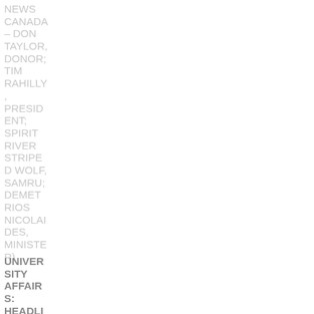NEWS CANADA – DON TAYLOR, DONOR; TIM RAHILLY, PRESIDENT; SPIRIT RIVER STRIPED WOLF, SAMRU; DEMETRIOS NICOLAIDES, MINISTER)
UNIVERSITY AFFAIRS: HEADLI